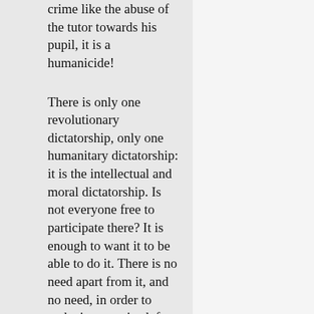crime like the abuse of the tutor towards his pupil, it is a humanicide!
There is only one revolutionary dictatorship, only one humanitary dictatorship: it is the intellectual and moral dictatorship. Is not everyone free to participate there? It is enough to want it to be able to do it. There is no need apart from it, and no need, in order to make it recognized, for battalions of lictors nor of trophies of bayonets; it advances escorted only by its free